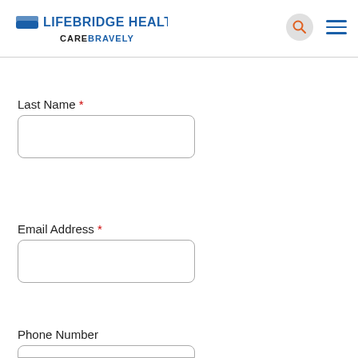[Figure (logo): LifeBridge Health logo with bridge icon and 'CARE BRAVELY' tagline]
Last Name *
Email Address *
Phone Number